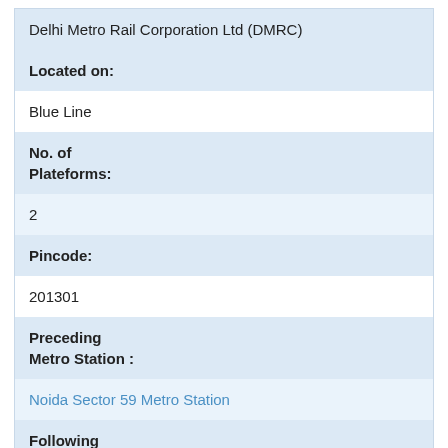Delhi Metro Rail Corporation Ltd (DMRC)
| Located on: | Blue Line |
| No. of Plateforms: | 2 |
| Pincode: | 201301 |
| Preceding Metro Station : | Noida Sector 59 Metro Station |
| Following Metro Station : |  |